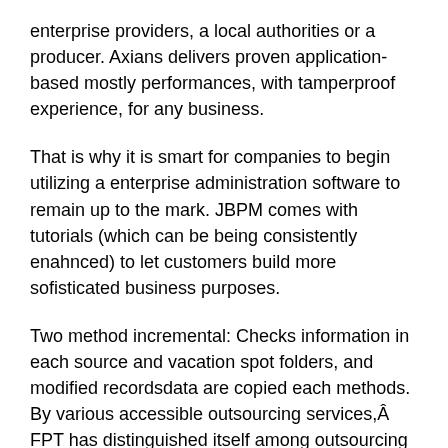enterprise providers, a local authorities or a producer. Axians delivers proven application-based mostly performances, with tamperproof experience, for any business.
That is why it is smart for companies to begin utilizing a enterprise administration software to remain up to the mark. JBPM comes with tutorials (which can be being consistently enahnced) to let customers build more sofisticated business purposes.
Two method incremental: Checks information in each source and vacation spot folders, and modified recordsdata are copied each methods. By various accessible outsourcing services,Â FPT has distinguished itself among outsourcing suppliers through its relentless concentrate on enhancing shoppers' business efficiency.